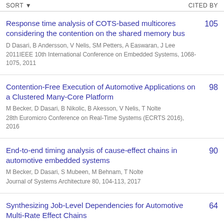SORT  CITED BY
Response time analysis of COTS-based multicores considering the contention on the shared memory bus
D Dasari, B Andersson, V Nelis, SM Petters, A Easwaran, J Lee
2011IEEE 10th International Conference on Embedded Systems, 1068-1075, 2011
Cited by: 105
Contention-Free Execution of Automotive Applications on a Clustered Many-Core Platform
M Becker, D Dasari, B Nikolic, B Akesson, V Nelis, T Nolte
28th Euromicro Conference on Real-Time Systems (ECRTS 2016), 2016
Cited by: 98
End-to-end timing analysis of cause-effect chains in automotive embedded systems
M Becker, D Dasari, S Mubeen, M Behnam, T Nolte
Journal of Systems Architecture 80, 104-113, 2017
Cited by: 90
Synthesizing Job-Level Dependencies for Automotive Multi-Rate Effect Chains
M Becker, D Dasari, S Mubeen, M Behnam, T Nolte
Cited by: 64